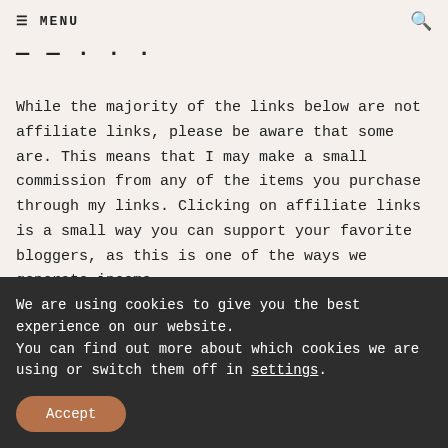≡ MENU 🔍
— — · · · · ·
While the majority of the links below are not affiliate links, please be aware that some are. This means that I may make a small commission from any of the items you purchase through my links. Clicking on affiliate links is a small way you can support your favorite bloggers, as this is one of the ways we generate income.
I've listed and linked all of the exact pieces below. Since most of the items are not available through the
We are using cookies to give you the best experience on our website.
You can find out more about which cookies we are using or switch them off in settings.
Accept